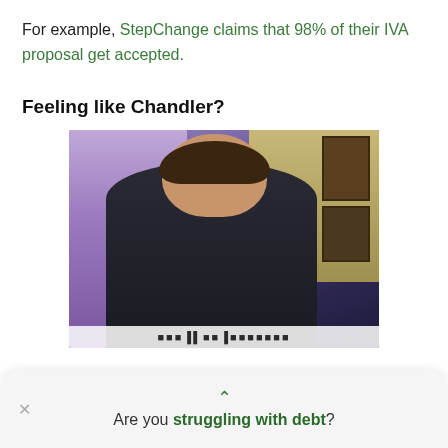For example, StepChange claims that 98% of their IVA proposal get accepted.
Feeling like Chandler?
[Figure (photo): A man (resembling Chandler from the TV show Friends) sitting in a room, wearing a dark sweater, with a purple curtain on the left and picture frames on the wall in the background. Text overlay at the bottom of the image appears to read something in bold white/dark letters.]
Are you struggling with debt?